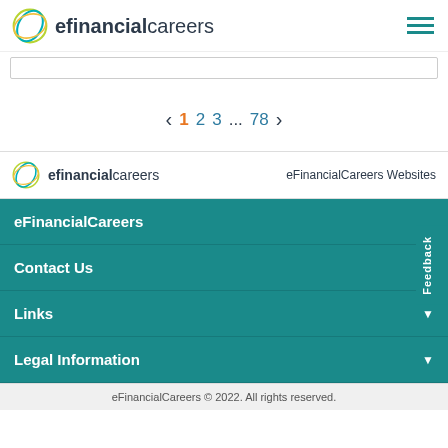efinancialcareers
[Search bar input area]
< 1 2 3 ... 78 >
efinancialcareers | eFinancialCareers Websites
eFinancialCareers
Contact Us
Links
Legal Information
eFinancialCareers © 2022. All rights reserved.